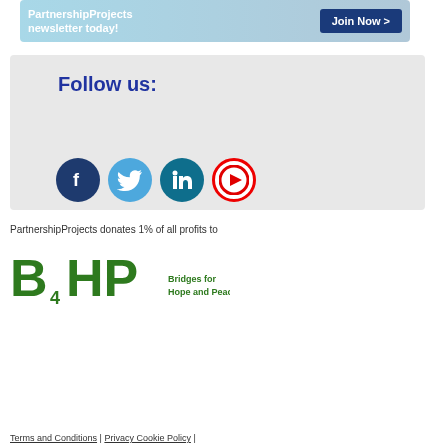[Figure (screenshot): Banner ad for PartnershipProjects newsletter with 'Join Now >' button on blue/teal gradient background]
[Figure (infographic): Follow us section with Facebook, Twitter, LinkedIn, and YouTube social media icons on grey background, with 'Follow us:' heading in blue]
PartnershipProjects donates 1% of all profits to
[Figure (logo): B4HP Bridges for Hope and Peace logo in green]
Terms and Conditions | Privacy Cookie Policy |